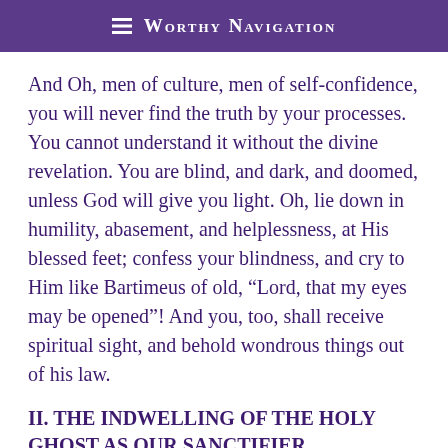≡ Worthy Navigation
And Oh, men of culture, men of self-confidence, you will never find the truth by your processes. You cannot understand it without the divine revelation. You are blind, and dark, and doomed, unless God will give you light. Oh, lie down in humility, abasement, and helplessness, at His blessed feet; confess your blindness, and cry to Him like Bartimeus of old, “Lord, that my eyes may be opened”! And you, too, shall receive spiritual sight, and behold wondrous things out of his law.
II. THE INDWELLING OF THE HOLY GHOST AS OUR SANCTIFIER.
1 Cor. 3: 16, 17: “Know ye not that ye are the temple of God, and that the Spirit of God…